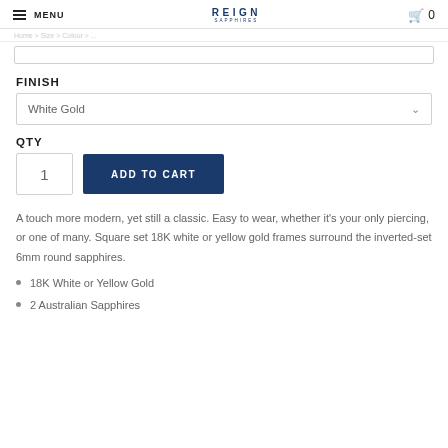MENU  REIGN  0
FINISH
White Gold
QTY
1  ADD TO CART
A touch more modern, yet still a classic.  Easy to wear, whether it's your only piercing, or one of many.  Square set 18K white or yellow gold frames surround the inverted-set 6mm round sapphires.
18K White or Yellow Gold
2 Australian Sapphires